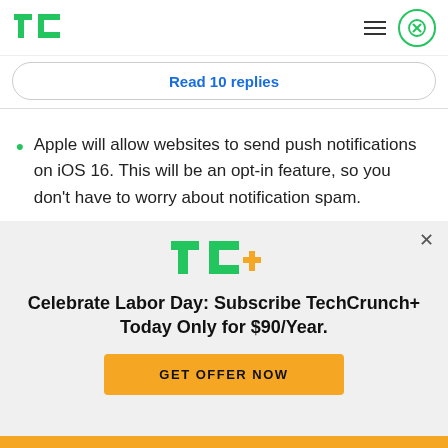TechCrunch logo with hamburger menu and close button
Read 10 replies
Apple will allow websites to send push notifications on iOS 16. This will be an opt-in feature, so you don't have to worry about notification spam.
[Figure (logo): TechCrunch+ logo (TC+ in green and yellow)]
Celebrate Labor Day: Subscribe TechCrunch+ Today Only for $90/Year.
GET OFFER NOW